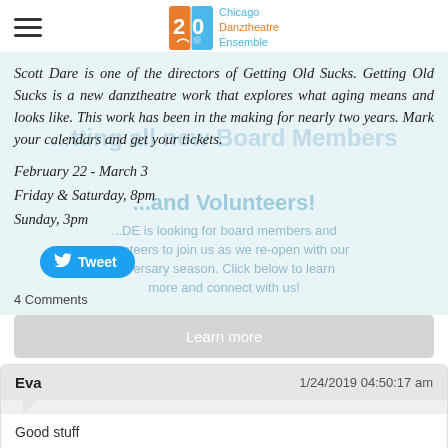Chicago Danztheatre Ensemble
Scott Dare is one of the directors of Getting Old Sucks. Getting Old Sucks is a new danztheatre work that explores what aging means and looks like. This work has been in the making for nearly two years. Mark your calendars and get your tickets.
February 22 - March 3
Friday & Saturday, 8pm
Sunday, 3pm
Tweet
4 Comments
Learn more
Eva
1/24/2019 04:50:17 am
Good stuff